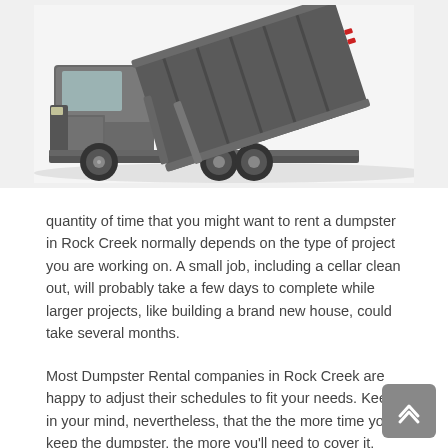[Figure (photo): A roll-off dumpster truck with the container being tilted/unloaded, shown against a white background.]
quantity of time that you might want to rent a dumpster in Rock Creek normally depends on the type of project you are working on. A small job, including a cellar clean out, will probably take a few days to complete while larger projects, like building a brand new house, could take several months.
Most Dumpster Rental companies in Rock Creek are happy to adjust their schedules to fit your needs. Keep in your mind, nevertheless, that the the more time you keep the dumpster, the more you'll need to cover it.
When you contact Dumpster Rental companies in Rock Creek, ask them how long their terms are. Many will allow you choices such as several days or one week, but there are typically longer